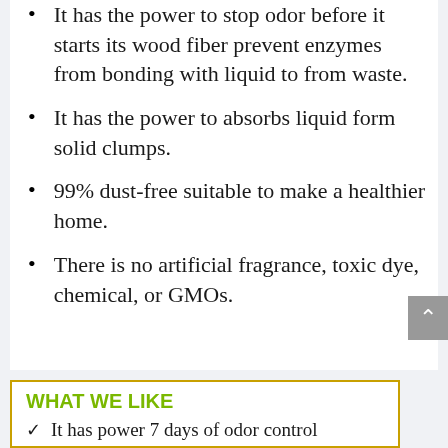It has the power to stop odor before it starts its wood fiber prevent enzymes from bonding with liquid to from waste.
It has the power to absorbs liquid form solid clumps.
99% dust-free suitable to make a healthier home.
There is no artificial fragrance, toxic dye, chemical, or GMOs.
WHAT WE LIKE
✓ It has power 7 days of odor control